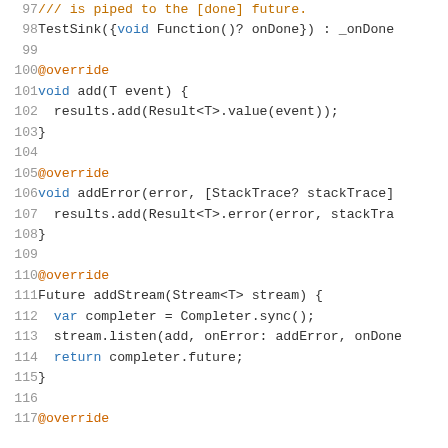[Figure (screenshot): Code editor screenshot showing Dart/Java source code lines 97-117 with syntax highlighting. Line numbers in grey, keywords in blue, comments/decorators in orange/brown.]